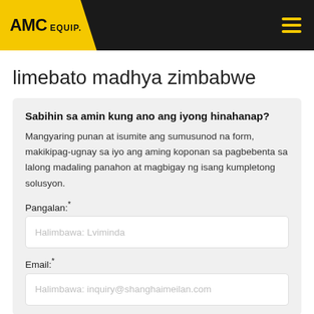AMC EQUIP.
limebato madhya zimbabwe
Sabihin sa amin kung ano ang iyong hinahanap?
Mangyaring punan at isumite ang sumusunod na form, makikipag-ugnay sa iyo ang aming koponan sa pagbebenta sa lalong madaling panahon at magbigay ng isang kumpletong solusyon.
Pangalan:*
Halimbawa: Lviminda
Email:*
Halimbawa: inquiry@shanghaimeilan.com